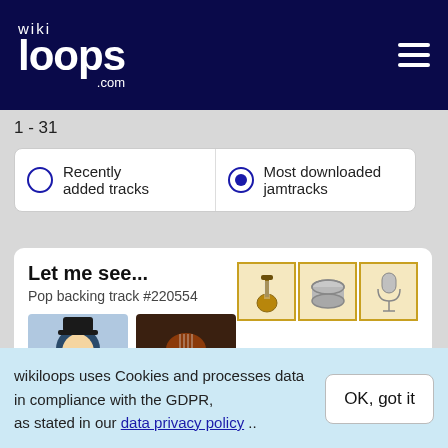wikiloops.com
1 - 31
Recently added tracks | Most downloaded jamtracks
Let me see...
Pop backing track #220554
[Figure (illustration): Avatar of a cartoon sailor captain with pipe and hat, and a photo of a cello/violin]
[Figure (illustration): Three instrument icons: guitar, drum, microphone]
Meter: 2/4
Tempo: 83 BPM
Musical key: A minor
wikiloops uses Cookies and processes data in compliance with the GDPR, as stated in our data privacy policy ..